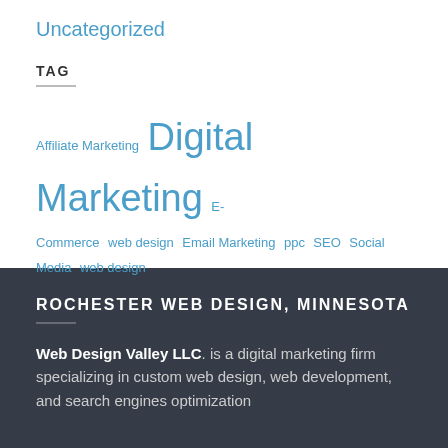Uncategorized
TAG
Affiliate Marketing  Digital Marketing  E-Commerce web design  Email Marketing  ppc  SEO  Social Media  web design
ROCHESTER WEB DESIGN, MINNESOTA
Web Design Valley LLC. is a digital marketing firm specializing in custom web design, web development, and search engines optimization